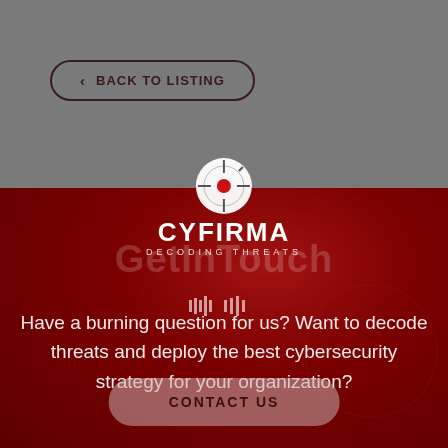< BACK TO LISTING
[Figure (logo): CYFIRMA logo with target/crosshair icon, text CYFIRMA and tagline DECODING THREATS]
Have a burning question for us? Want to decode threats and deploy the best cybersecurity strategy for your organization?
CONTACT US